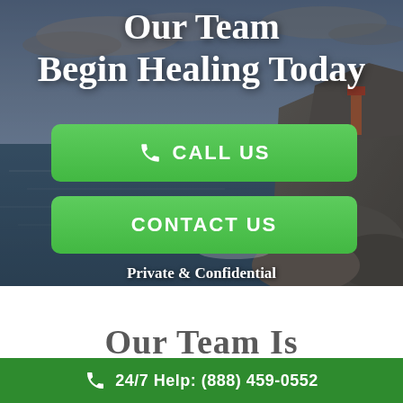Our Team
Begin Healing Today
CALL US
CONTACT US
Private & Confidential
Our Team Is
24/7 Help: (888) 459-0552